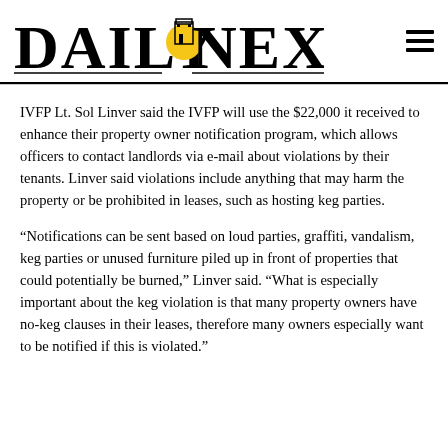DAILY NEXUS
IVFP Lt. Sol Linver said the IVFP will use the $22,000 it received to enhance their property owner notification program, which allows officers to contact landlords via e-mail about violations by their tenants. Linver said violations include anything that may harm the property or be prohibited in leases, such as hosting keg parties.
“Notifications can be sent based on loud parties, graffiti, vandalism, keg parties or unused furniture piled up in front of properties that could potentially be burned,” Linver said. “What is especially important about the keg violation is that many property owners have no-keg clauses in their leases, therefore many owners especially want to be notified if this is violated.”